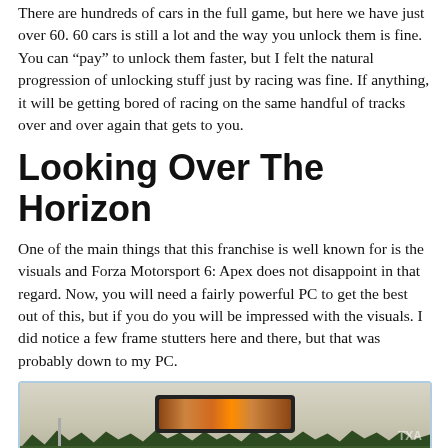There are hundreds of cars in the full game, but here we have just over 60. 60 cars is still a lot and the way you unlock them is fine. You can “pay” to unlock them faster, but I felt the natural progression of unlocking stuff just by racing was fine. If anything, it will be getting bored of racing on the same handful of tracks over and over again that gets to you.
Looking Over The Horizon
One of the main things that this franchise is well known for is the visuals and Forza Motorsport 6: Apex does not disappoint in that regard. Now, you will need a fairly powerful PC to get the best out of this, but if you do you will be impressed with the visuals. I did notice a few frame stutters here and there, but that was probably down to my PC.
[Figure (screenshot): In-game screenshot of Forza Motorsport 6: Apex showing a racing scene with a rear-view mirror reflection of cars on track, trees in the background, and overcast sky.]